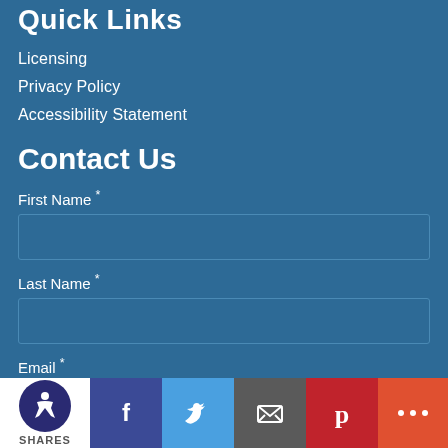Quick Links
Licensing
Privacy Policy
Accessibility Statement
Contact Us
First Name *
Last Name *
Email *
Phone *
[Figure (infographic): Social sharing bar with accessibility icon, Facebook, Twitter, Email, Pinterest, and More buttons]